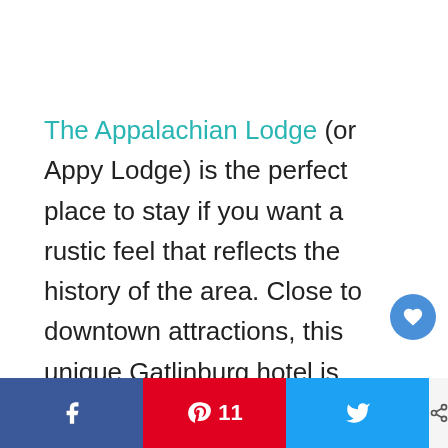The Appalachian Lodge (or Appy Lodge) is the perfect place to stay if you want a rustic feel that reflects the history of the area. Close to downtown attractions, this unique Gatlinburg hotel is owned by an eighth-generation Tennessee family that strives to welcome and host guests while honoring the history of the famous Appalachian Trail (which stretches all the way from Georgia to Maine)
[Figure (other): Social share bar with Facebook, Pinterest (11 saves), and Twitter buttons, plus a share count of 1. and a heart/like floating button]